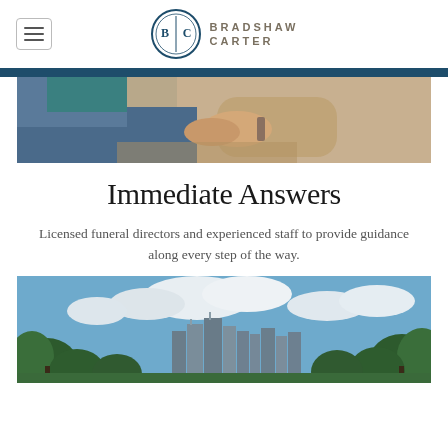Bradshaw Carter
[Figure (photo): Close-up of two people holding hands, one wearing jeans and the other a beige sweater, conveying comfort and support.]
Immediate Answers
Licensed funeral directors and experienced staff to provide guidance along every step of the way.
[Figure (photo): Outdoor cityscape photo showing the Houston skyline with tall buildings visible through trees under a blue sky with white clouds.]